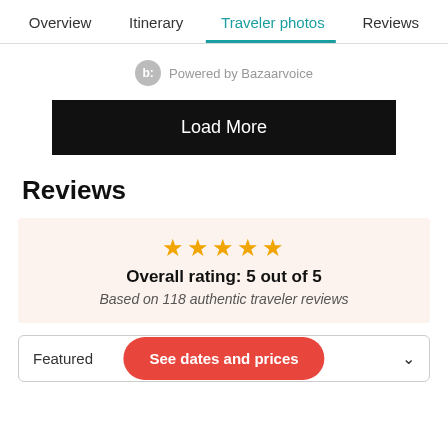Overview   Itinerary   Traveler photos   Reviews
Powered by Bazaarvoice
Load More
Reviews
Overall rating: 5 out of 5
Based on 118 authentic traveler reviews
Featured   See dates and prices